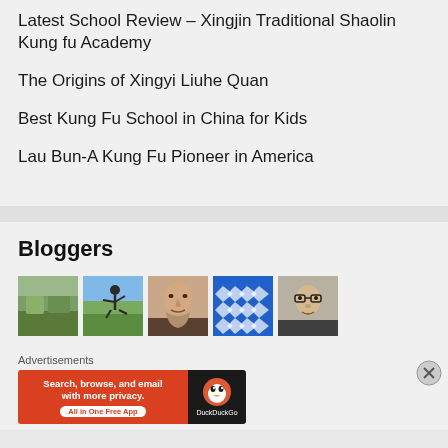Latest School Review – Xingjin Traditional Shaolin Kung fu Academy
The Origins of Xingyi Liuhe Quan
Best Kung Fu School in China for Kids
Lau Bun-A Kung Fu Pioneer in America
Bloggers
[Figure (photo): Five blogger thumbnail photos in a row]
Advertisements
[Figure (screenshot): DuckDuckGo advertisement banner: Search, browse, and email with more privacy. All in One Free App]